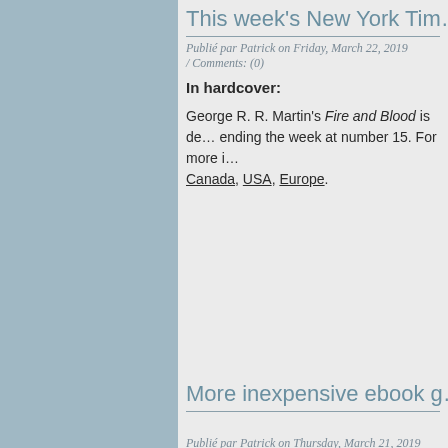This week's New York Tim…
Publié par Patrick on Friday, March 22, 2019 / Comments: (0)
In hardcover:
George R. R. Martin's Fire and Blood is de… ending the week at number 15. For more i… Canada, USA, Europe.
More inexpensive ebook g…
Publié par Patrick on Thursday, March 21, 2019 / Comments: (0)